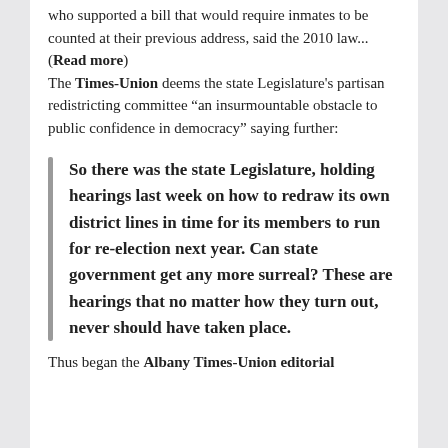who supported a bill that would require inmates to be counted at their previous address, said the 2010 law... (Read more) The Times-Union deems the state Legislature's partisan redistricting committee “an insurmountable obstacle to public confidence in democracy” saying further:
So there was the state Legislature, holding hearings last week on how to redraw its own district lines in time for its members to run for re-election next year. Can state government get any more surreal? These are hearings that no matter how they turn out, never should have taken place.
Thus began the Albany Times-Union editorial